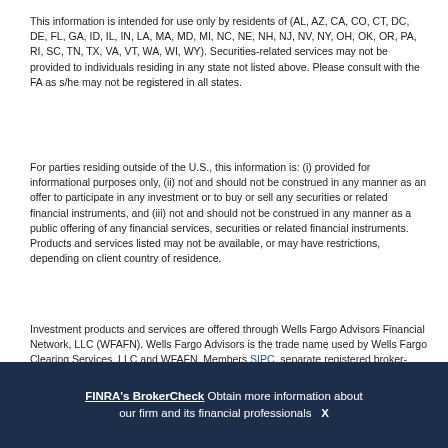This information is intended for use only by residents of (AL, AZ, CA, CO, CT, DC, DE, FL, GA, ID, IL, IN, LA, MA, MD, MI, NC, NE, NH, NJ, NV, NY, OH, OK, OR, PA, RI, SC, TN, TX, VA, VT, WA, WI, WY). Securities-related services may not be provided to individuals residing in any state not listed above. Please consult with the FA as s/he may not be registered in all states.
For parties residing outside of the U.S., this information is: (i) provided for informational purposes only, (ii) not and should not be construed in any manner as an offer to participate in any investment or to buy or sell any securities or related financial instruments, and (iii) not and should not be construed in any manner as a public offering of any financial services, securities or related financial instruments. Products and services listed may not be available, or may have restrictions, depending on client country of residence.
Investment products and services are offered through Wells Fargo Advisors Financial Network, LLC (WFAFN). Wells Fargo Advisors is the trade name used by Wells Fargo Clearing Services, LLC and WFAFN, Members SIPC, separate registered broker-dealers and non-bank affiliates of Wells Fargo & Company. Any other referenced entity is a separate entity from WFAFN.
FINRA's BrokerCheck Obtain more information about our firm and its financial professionals X